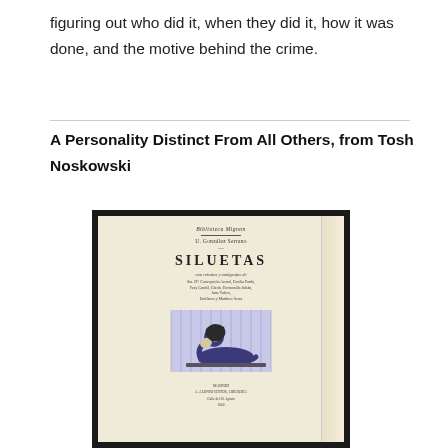figuring out who did it, when they did it, how it was done, and the motive behind the crime.
A Personality Distinct From All Others, from Tosh Noskowski
[Figure (photo): A framed book cover for 'SILUETAS' by U. González Serrano, showing an art nouveau illustration of a reclining woman with her head on her hand, published in Madrid. The book is displayed in a dark frame against a light background.]